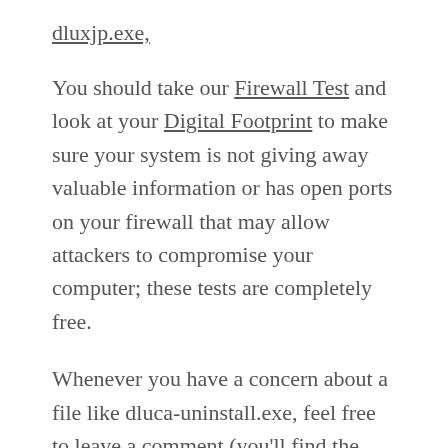dluxjp.exe,
You should take our Firewall Test and look at your Digital Footprint to make sure your system is not giving away valuable information or has open ports on your firewall that may allow attackers to compromise your computer; these tests are completely free.
Whenever you have a concern about a file like dluca-uninstall.exe, feel free to leave a comment (you’ll find the comment section at the bottom of this page); we’ll research